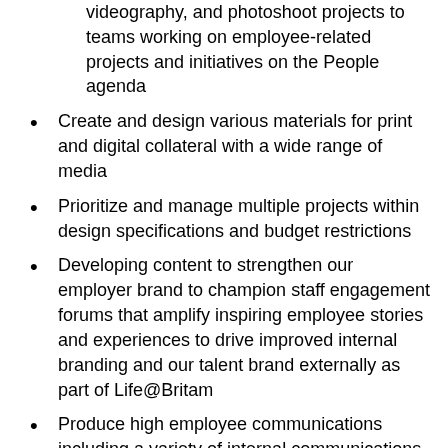videography, and photoshoot projects to teams working on employee-related projects and initiatives on the People agenda
Create and design various materials for print and digital collateral with a wide range of media
Prioritize and manage multiple projects within design specifications and budget restrictions
Developing content to strengthen our employer brand to champion staff engagement forums that amplify inspiring employee stories and experiences to drive improved internal branding and our talent brand externally as part of Life@Britam
Produce high employee communications including a variety of internal communications including announcements, advertisements, e-shots and campaign briefs, and collateral for people agenda initiatives and to be delivered across a variety of